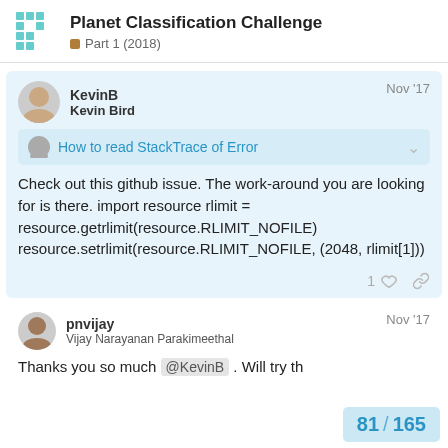Planet Classification Challenge
Part 1 (2018)
KevinB
Kevin Bird
Nov '17
How to read StackTrace of Error
Check out this github issue. The work-around you are looking for is there. import resource rlimit = resource.getrlimit(resource.RLIMIT_NOFILE) resource.setrlimit(resource.RLIMIT_NOFILE, (2048, rlimit[1]))
pnvijay
Vijay Narayanan Parakimeethal
Nov '17
Thanks you so much @KevinB . Will try th
81 / 165